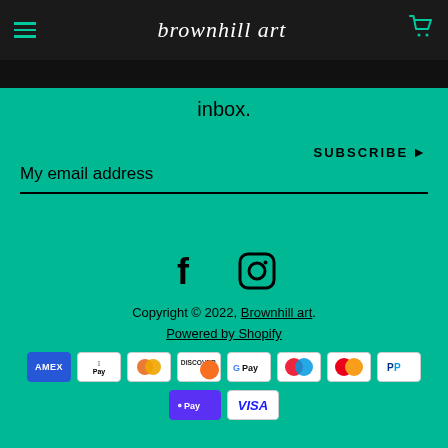brownhill art
inbox.
My email address
SUBSCRIBE ▶
[Figure (illustration): Facebook and Instagram social media icons]
Copyright © 2022, Brownhill art.
Powered by Shopify
[Figure (other): Payment method icons: AMEX, Apple Pay, Diners Club, Discover, Google Pay, Maestro, Mastercard, PayPal, Shop Pay, Visa]